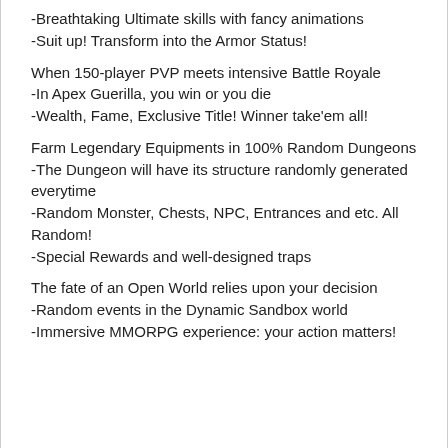-Breathtaking Ultimate skills with fancy animations
-Suit up! Transform into the Armor Status!
When 150-player PVP meets intensive Battle Royale
-In Apex Guerilla, you win or you die
-Wealth, Fame, Exclusive Title! Winner take'em all!
Farm Legendary Equipments in 100% Random Dungeons
-The Dungeon will have its structure randomly generated everytime
-Random Monster, Chests, NPC, Entrances and etc. All Random!
-Special Rewards and well-designed traps
The fate of an Open World relies upon your decision
-Random events in the Dynamic Sandbox world
-Immersive MMORPG experience: your action matters!